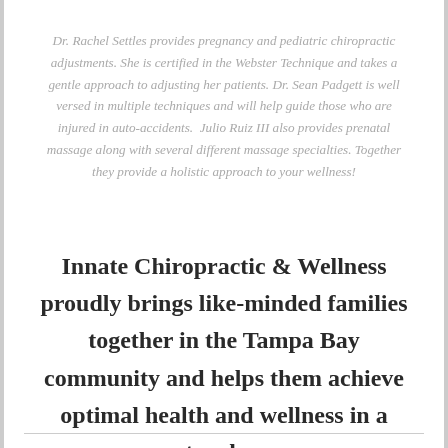Dr. Rachel Settles provides pregnancy and pediatric chiropractic adjustments. She is certified in the Webster Technique and takes a gentle approach to adjusting her patients. Dr. Sean Padgett is well versed in multiple techniques and will help guide those who are injured in auto-accidents.  Julio Ruiz III also provides prenatal massage along with several different massage specialties. Together they provide a holistic approach to your wellness!
Innate Chiropractic & Wellness proudly brings like-minded families together in the Tampa Bay community and helps them achieve optimal health and wellness in a natural way.